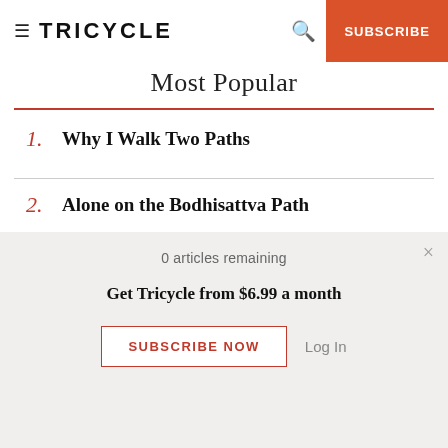TRICYCLE | SUBSCRIBE
Most Popular
1. Why I Walk Two Paths
2. Alone on the Bodhisattva Path
3. The Noble Eightfold Path
4. How to Follow the Bodhisattva Path
0 articles remaining
Get Tricycle from $6.99 a month
SUBSCRIBE NOW | Log In